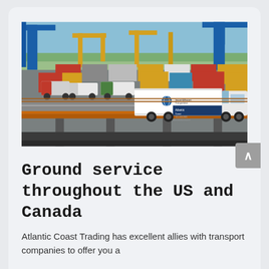[Figure (photo): Port/harbor scene with shipping containers (red, yellow, blue), cranes, multiple trucks including an Atlantic Coast Trading Inc. truck in the foreground driving on an elevated road/bridge over the container yard. Ocean or large body of water visible in background.]
Ground service throughout the US and Canada
Atlantic Coast Trading has excellent allies with transport companies to offer you a